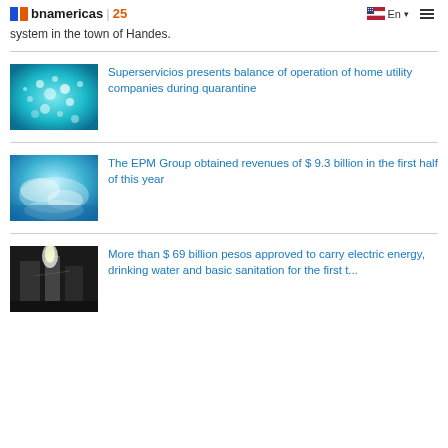bnamericas | 25  En  ☰
system in the town of Handes.
Superservicios presents balance of operation of home utility companies during quarantine
The EPM Group obtained revenues of $ 9.3 billion in the first half of this year
More than $ 69 billion pesos approved to carry electric energy, drinking water and basic sanitation for the first t...